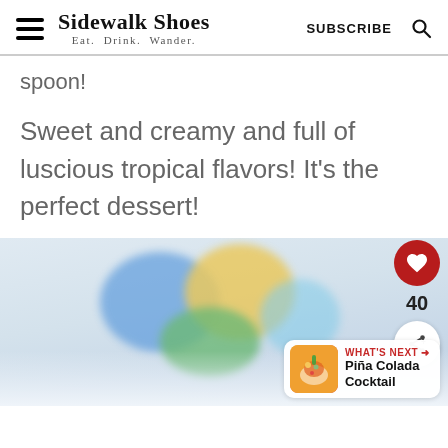Sidewalk Shoes — Eat. Drink. Wander. | SUBSCRIBE
spoon!
Sweet and creamy and full of luscious tropical flavors! It's the perfect dessert!
[Figure (photo): Blurred photo of colorful candy or dessert items (blue, yellow, green) in a bowl or on a plate, with a light blue/white background. Overlaid UI elements: a red heart/like button (40 likes), a share button, and a 'What's Next: Piña Colada Cocktail' widget.]